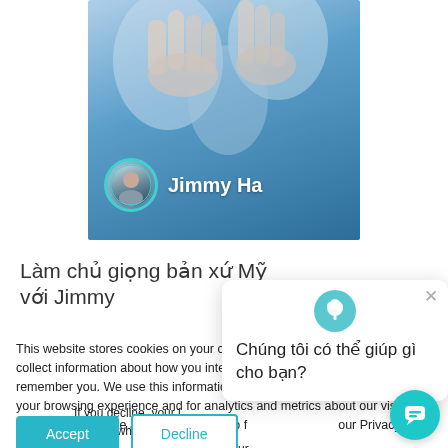[Figure (photo): Hero image with people and avatar of Jimmy Ha, showing hands in discussion/meeting context with blue gradient background]
Làm chủ giọng bản xứ Mỹ với Jimmy
This website stores cookies on your computer. These cookies are used to collect information about how you interact with our website and allow us to remember you. We use this information in order to improve and customize your browsing experience and for analytics and metrics about our visitors both on this website and other media. To find out more about the cookies we use, see our Privacy Policy.
If you decline, your information won't be tracked when you visit this website. A single cookie will be used in your browser to remember your preference not to be tracked.
Chúng tôi có thể giúp gì cho bạn?